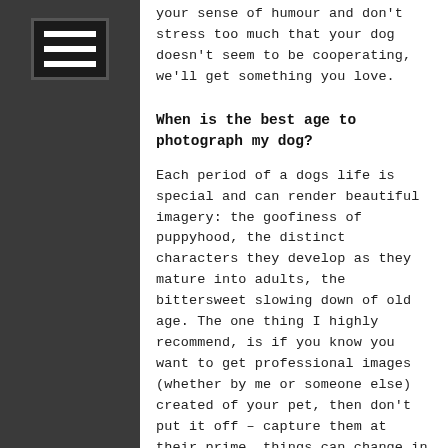your sense of humour and don't stress too much that your dog doesn't seem to be cooperating, we'll get something you love.
When is the best age to photograph my dog?
Each period of a dogs life is special and can render beautiful imagery: the goofiness of puppyhood, the distinct characters they develop as they mature into adults, the bittersweet slowing down of old age. The one thing I highly recommend, is if you know you want to get professional images (whether by me or someone else) created of your pet, then don't put it off – capture them at their prime, things can change in an instant;